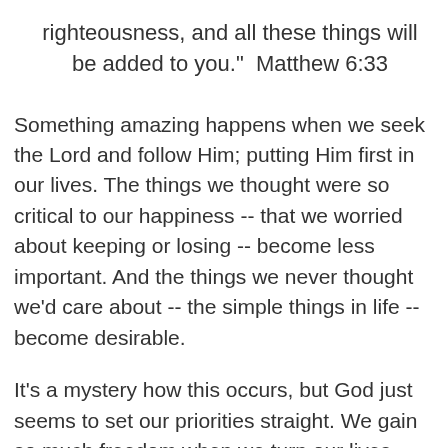righteousness, and all these things will be added to you."  Matthew 6:33
Something amazing happens when we seek the Lord and follow Him; putting Him first in our lives. The things we thought were so critical to our happiness -- that we worried about keeping or losing -- become less important. And the things we never thought we'd care about -- the simple things in life -- become desirable.
It's a mystery how this occurs, but God just seems to set our priorities straight. We gain so much freedom when we turn our lives over to Him. He never fails to give us what we need. And the longer we walk with